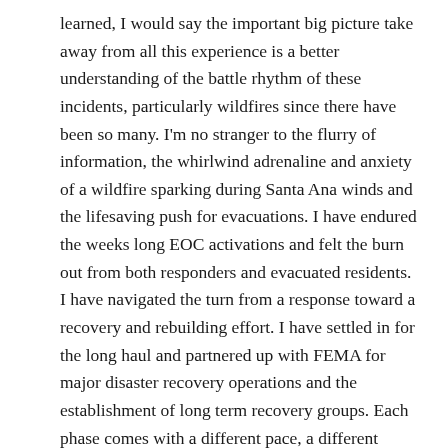learned, I would say the important big picture take away from all this experience is a better understanding of the battle rhythm of these incidents, particularly wildfires since there have been so many. I'm no stranger to the flurry of information, the whirlwind adrenaline and anxiety of a wildfire sparking during Santa Ana winds and the lifesaving push for evacuations. I have endured the weeks long EOC activations and felt the burn out from both responders and evacuated residents. I have navigated the turn from a response toward a recovery and rebuilding effort. I have settled in for the long haul and partnered up with FEMA for major disaster recovery operations and the establishment of long term recovery groups. Each phase comes with a different pace, a different flavor and different prioritized information needs.